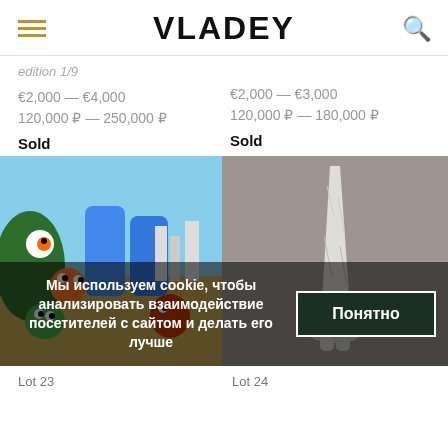VLADEY
edition 1/9
€2,000 — €4,000
120,000 ₽ — 250,000 ₽
Sold
€2,000 — €3,000
120,000 ₽ — 180,000 ₽
Sold
[Figure (illustration): Colorful cartoon-style illustration with animated characters including SpongeBob-like figures and large blue letters/shapes]
[Figure (photo): White sculptural figure of a person/torso on a dark background, appears to be a ceramic or plaster sculpture]
Мы используем cookie, чтобы анализировать взаимодействие посетителей с сайтом и делать его лучше
Понятно
Lot 23
Lot 24